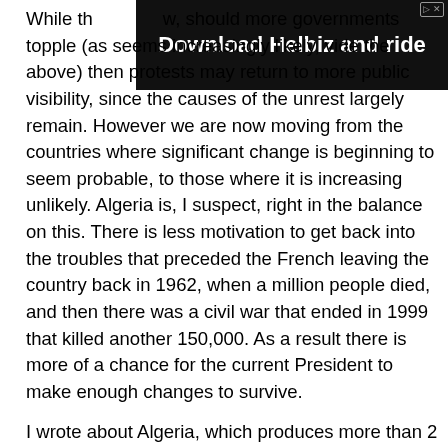[Figure (other): Advertisement banner: Download Helbiz and ride, with a dark background showing bicycle handlebars]
While the ... should more governments topple (as seems increasingly likely, vide the above) then protests may return to more public visibility, since the causes of the unrest largely remain. However we are now moving from the countries where significant change is beginning to seem probable, to those where it is increasing unlikely. Algeria is, I suspect, right in the balance on this. There is less motivation to get back into the troubles that preceded the French leaving the country back in 1962, when a million people died, and then there was a civil war that ended in 1999 that killed another 150,000. As a result there is more of a chance for the current President to make enough changes to survive.
I wrote about Algeria, which produces more than 2 mbd, earlier in the series and for now will presume that the production of both oil and natural gas will continue.
[Figure (other): Broken image link labeled Algerian Oil Statistics]